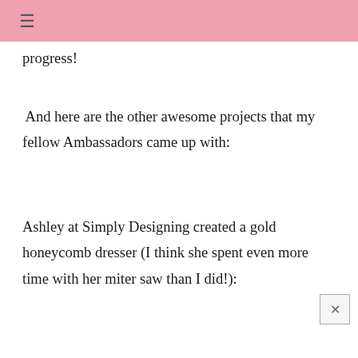≡
progress!
And here are the other awesome projects that my fellow Ambassadors came up with:
Ashley at Simply Designing created a gold honeycomb dresser (I think she spent even more time with her miter saw than I did!):